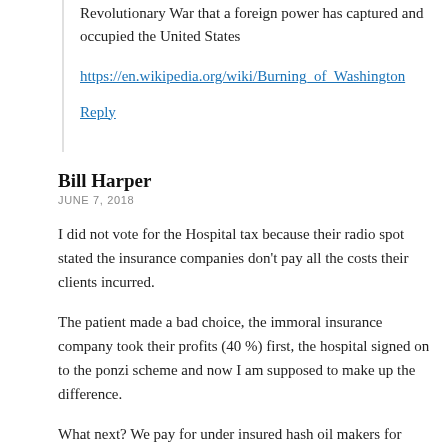Revolutionary War that a foreign power has captured and occupied the United States
https://en.wikipedia.org/wiki/Burning_of_Washington
Reply
Bill Harper
JUNE 7, 2018
I did not vote for the Hospital tax because their radio spot stated the insurance companies don’t pay all the costs their clients incurred.
The patient made a bad choice, the immoral insurance company took their profits (40 %) first, the hospital signed on to the ponzi scheme and now I am supposed to make up the difference.
What next? We pay for under insured hash oil makers for their rebuild after the fires?
We pay the body shop to help someone who didn’t